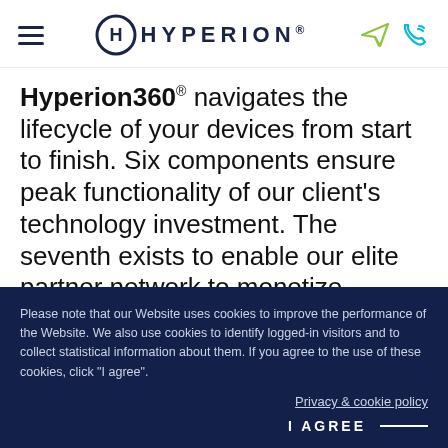HYPERION®
Hyperion360® navigates the lifecycle of your devices from start to finish. Six components ensure peak functionality of our client's technology investment. The seventh exists to enable our elite partner network to monetize mobility.
Please note that our Website uses cookies to improve the performance of the Website. We also use cookies to identify logged-in visitors and to collect statistical information about them. If you agree to the use of these cookies, click "I agree". Privacy & cookie policy I AGREE —